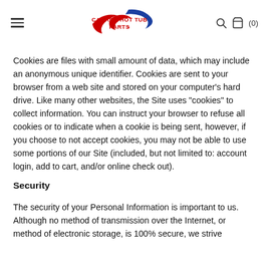Canada Hot Tub Parts — navigation header with hamburger menu, logo, search and cart icons
Cookies are files with small amount of data, which may include an anonymous unique identifier. Cookies are sent to your browser from a web site and stored on your computer's hard drive. Like many other websites, the Site uses "cookies" to collect information. You can instruct your browser to refuse all cookies or to indicate when a cookie is being sent, however, if you choose to not accept cookies, you may not be able to use some portions of our Site (included, but not limited to: account login, add to cart, and/or online check out).
Security
The security of your Personal Information is important to us. Although no method of transmission over the Internet, or method of electronic storage, is 100% secure, we strive